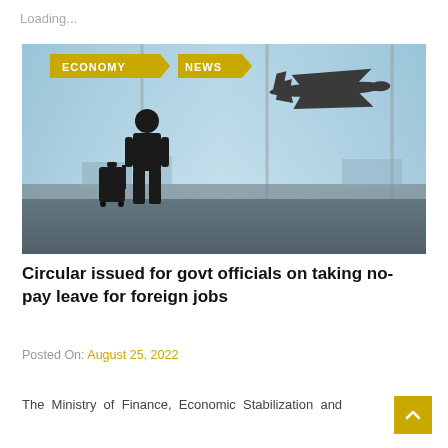Loading...
[Figure (photo): Silhouette of a businessman with luggage standing at an airport terminal looking at a plane taking off through large glass windows. Two yellow category badges labeled ECONOMY and NEWS appear in the upper left corner of the image.]
Circular issued for govt officials on taking no-pay leave for foreign jobs
Posted On: August 25, 2022
The Ministry of Finance, Economic Stabilization and